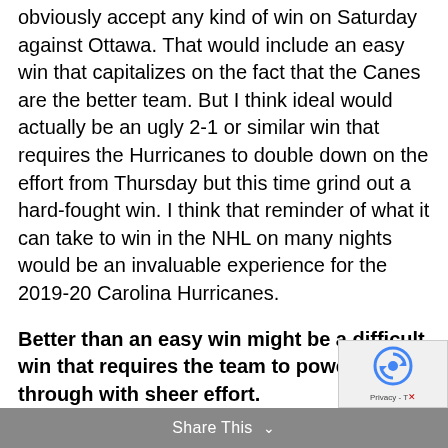obviously accept any kind of win on Saturday against Ottawa. That would include an easy win that capitalizes on the fact that the Canes are the better team. But I think ideal would actually be an ugly 2-1 or similar win that requires the Hurricanes to double down on the effort from Thursday but this time grind out a hard-fought win. I think that reminder of what it can take to win in the NHL on many nights would be an invaluable experience for the 2019-20 Carolina Hurricanes.
Better than an easy win might be a difficult win that requires the team to power through with sheer effort.
[Figure (other): reCAPTCHA widget with blue circular arrow icon and Privacy - Terms text]
Share This